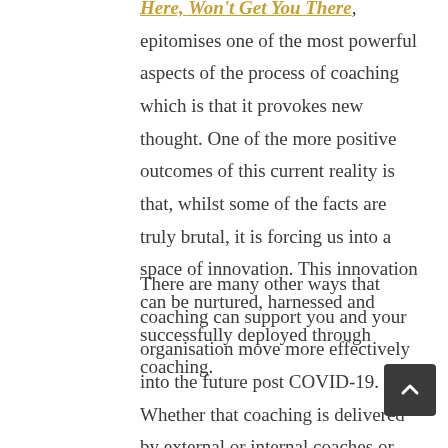Here, Won't Get You There, epitomises one of the most powerful aspects of the process of coaching which is that it provokes new thought. One of the more positive outcomes of this current reality is that, whilst some of the facts are truly brutal, it is forcing us into a space of innovation. This innovation can be nurtured, harnessed and successfully deployed through coaching.
There are many other ways that coaching can support you and your organisation move more effectively into the future post COVID-19. Whether that coaching is delivered by external or internal coaches or whether it is